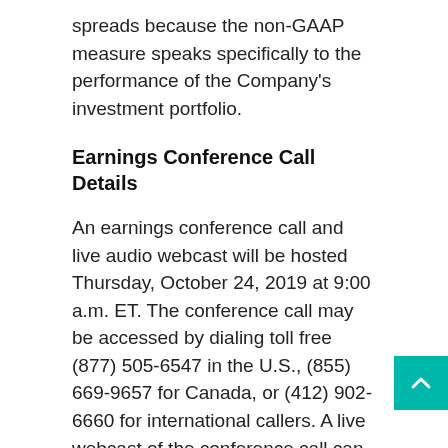spreads because the non-GAAP measure speaks specifically to the performance of the Company's investment portfolio.
Earnings Conference Call Details
An earnings conference call and live audio webcast will be hosted Thursday, October 24, 2019 at 9:00 a.m. ET. The conference call may be accessed by dialing toll free (877) 505-6547 in the U.S., (855) 669-9657 for Canada, or (412) 902-6660 for international callers. A live webcast of the conference call can be accessed via the investor relations section of the Company's website at www.capstead.com and an archive of the webcast will be available up to the date of our next earnings press release. An audio replay can be accessed one hour after the end of the conference call, also up to